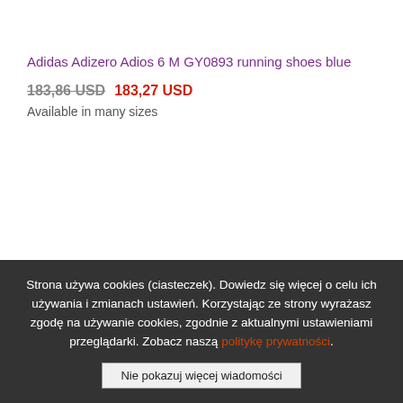Adidas Adizero Adios 6 M GY0893 running shoes blue
183,86 USD  183,27 USD
Available in many sizes
[Figure (illustration): Three purple circles of varying sizes arranged as a loading indicator dots pattern]
Strona używa cookies (ciasteczek). Dowiedz się więcej o celu ich używania i zmianach ustawień. Korzystając ze strony wyrażasz zgodę na używanie cookies, zgodnie z aktualnymi ustawieniami przeglądarki. Zobacz naszą politykę prywatności.
Nie pokazuj więcej wiadomości